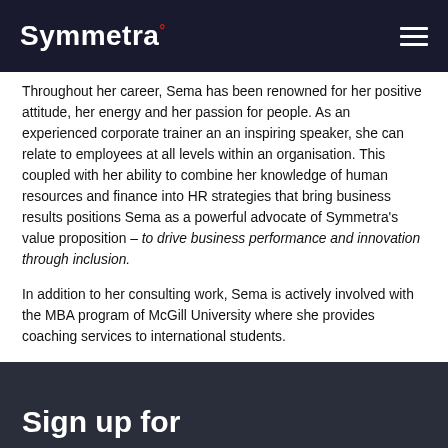Symmetra°
Throughout her career, Sema has been renowned for her positive attitude, her energy and her passion for people. As an experienced corporate trainer an an inspiring speaker, she can relate to employees at all levels within an organisation. This coupled with her ability to combine her knowledge of human resources and finance into HR strategies that bring business results positions Sema as a powerful advocate of Symmetra's value proposition – to drive business performance and innovation through inclusion.

In addition to her consulting work, Sema is actively involved with the MBA program of McGill University where she provides coaching services to international students.
Sign up for